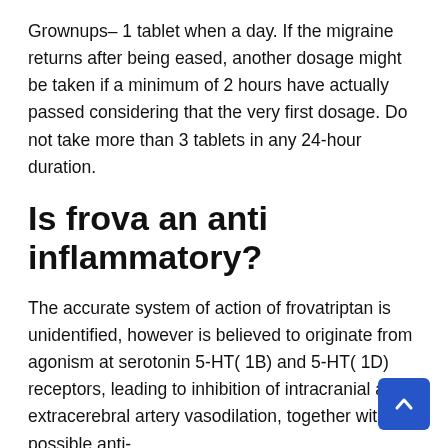Grownups– 1 tablet when a day. If the migraine returns after being eased, another dosage might be taken if a minimum of 2 hours have actually passed considering that the very first dosage. Do not take more than 3 tablets in any 24-hour duration.
Is frova an anti inflammatory?
The accurate system of action of frovatriptan is unidentified, however is believed to originate from agonism at serotonin 5-HT( 1B) and 5-HT( 1D) receptors, leading to inhibition of intracranial and extracerebral artery vasodilation, together with possible anti-